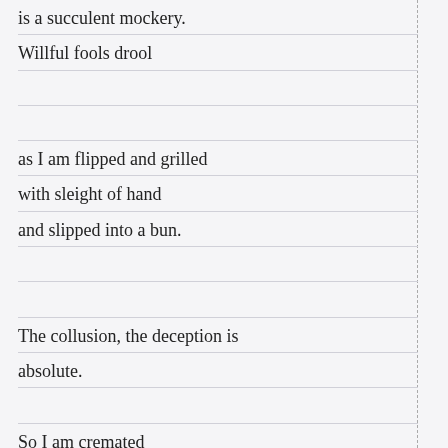is a succulent mockery.
Willful fools drool
as I am flipped and grilled
with sleight of hand
and slipped into a bun.
The collusion, the deception is
absolute.
So I am cremated